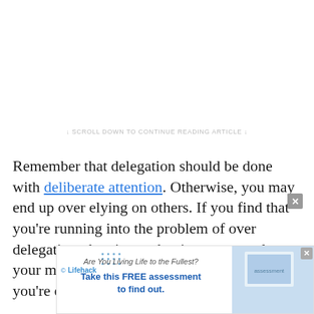↓ SCROLL DOWN TO CONTINUE READING ARTICLE ↓
Remember that delegation should be done with deliberate attention. Otherwise, you may end up over elying on others. If you find that you're running into the problem of over delegating, then it may be time to re-evaluate your motivation for doing whatever it is that you're doing.
[Figure (screenshot): Advertisement banner for Lifehack with text 'Are You Living Life to the Fullest? Take this FREE assessment to find out.']